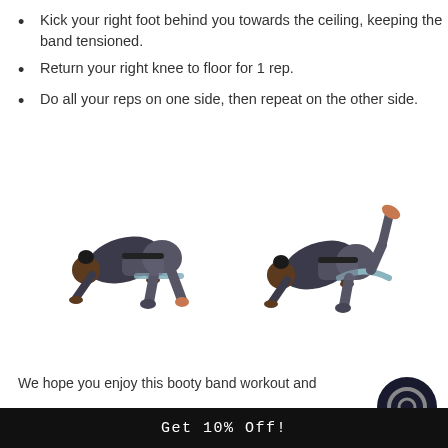Kick your right foot behind you towards the ceiling, keeping the band tensioned.
Return your right knee to floor for 1 rep.
Do all your reps on one side, then repeat on the other side.
[Figure (photo): Person on hands and knees in starting position with resistance band around thighs]
[Figure (photo): Person on hands and knees kicking right leg up toward ceiling with resistance band around thighs]
We hope you enjoy this booty band workout and
Get 10% Off!